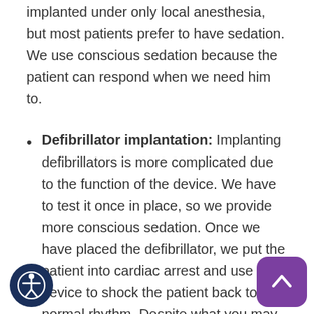implanted under only local anesthesia, but most patients prefer to have sedation. We use conscious sedation because the patient can respond when we need him to.
Defibrillator implantation: Implanting defibrillators is more complicated due to the function of the device. We have to test it once in place, so we provide more conscious sedation. Once we have placed the defibrillator, we put the patient into cardiac arrest and use the device to shock the patient back to a normal rhythm. Despite what you may think, this is very safe, as are prepared for all consequences that can occur during these tests.